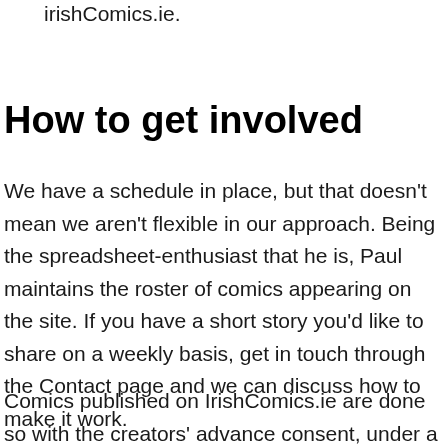irishcomics.ie.
How to get involved
We have a schedule in place, but that doesn't mean we aren't flexible in our approach. Being the spreadsheet-enthusiast that he is, Paul maintains the roster of comics appearing on the site. If you have a short story you'd like to share on a weekly basis, get in touch through the Contact page and we can discuss how to make it work.
Comics published on IrishComics.ie are done so with the creators' advance consent, under a non-exclusive